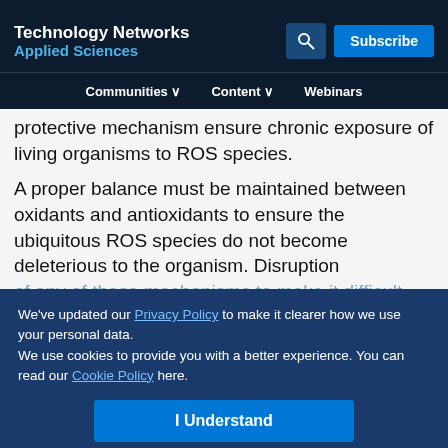Technology Networks
Applied Sciences
Communities  Content  Webinars
protective mechanism ensure chronic exposure of living organisms to ROS species.
A proper balance must be maintained between oxidants and antioxidants to ensure the ubiquitous ROS species do not become deleterious to the organism. Disruption of any of these mechanisms to make it difficult...resulting damage to a number of critical...ability to accurately determine the antio... of foods, cosmetics, dietary su... pharmaceutical
We've updated our Privacy Policy to make it clearer how we use your personal data.
We use cookies to provide you with a better experience. You can read our Cookie Policy here.
I Understand
Advertisement
[Figure (other): ThermoFisher Scientific advertisement banner: Do you know what your data is telling you?]